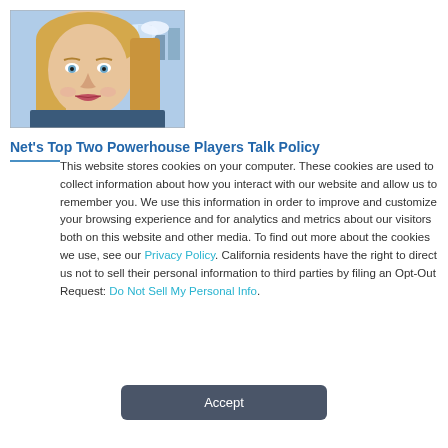[Figure (photo): Headshot photo of a blonde woman smiling, with a city skyline visible in the background]
Net's Top Two Powerhouse Players Talk Policy
This website stores cookies on your computer. These cookies are used to collect information about how you interact with our website and allow us to remember you. We use this information in order to improve and customize your browsing experience and for analytics and metrics about our visitors both on this website and other media. To find out more about the cookies we use, see our Privacy Policy. California residents have the right to direct us not to sell their personal information to third parties by filing an Opt-Out Request: Do Not Sell My Personal Info.
Accept